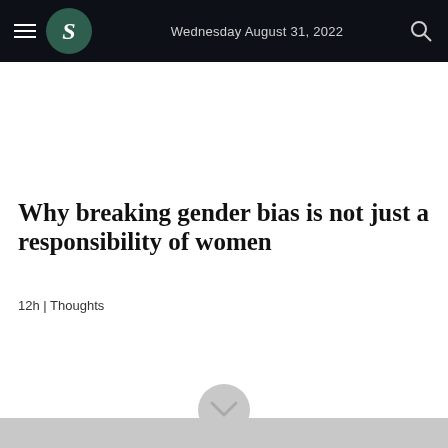Wednesday August 31, 2022
Why breaking gender bias is not just a responsibility of women
12h | Thoughts